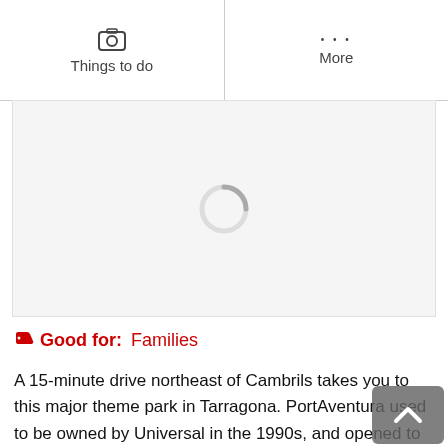Things to do | More
[Figure (screenshot): Loading spinner / image placeholder area showing a circular loading indicator on a white background]
Good for: Families
A 15-minute drive northeast of Cambrils takes you to this major theme park in Tarragona. PortAventura used to be owned by Universal in the 1990s, and opened to much fanfare as Europe's first Universal brand theme park. It's where you can take the family for a fun time out, with live shows and well over 40